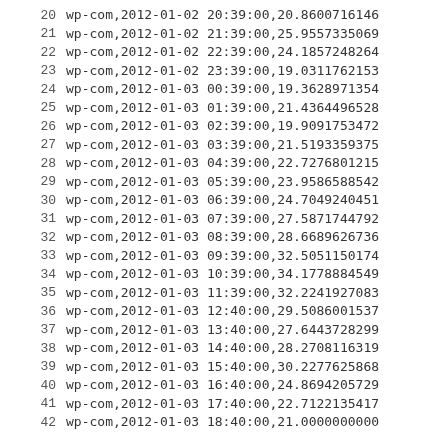| row | data |
| --- | --- |
| 20 | wp-com,2012-01-02 20:39:00,20.8600716146 |
| 21 | wp-com,2012-01-02 21:39:00,25.9557335069 |
| 22 | wp-com,2012-01-02 22:39:00,24.1857248264 |
| 23 | wp-com,2012-01-02 23:39:00,19.0311762153 |
| 24 | wp-com,2012-01-03 00:39:00,19.3628971354 |
| 25 | wp-com,2012-01-03 01:39:00,21.4364496528 |
| 26 | wp-com,2012-01-03 02:39:00,19.9091753472 |
| 27 | wp-com,2012-01-03 03:39:00,21.5193359375 |
| 28 | wp-com,2012-01-03 04:39:00,22.7276801215 |
| 29 | wp-com,2012-01-03 05:39:00,23.9586588542 |
| 30 | wp-com,2012-01-03 06:39:00,24.7049240451 |
| 31 | wp-com,2012-01-03 07:39:00,27.5871744792 |
| 32 | wp-com,2012-01-03 08:39:00,28.6689626736 |
| 33 | wp-com,2012-01-03 09:39:00,32.5051150174 |
| 34 | wp-com,2012-01-03 10:39:00,34.1778884549 |
| 35 | wp-com,2012-01-03 11:39:00,32.2241927083 |
| 36 | wp-com,2012-01-03 12:40:00,29.5086001537 |
| 37 | wp-com,2012-01-03 13:40:00,27.6443728299 |
| 38 | wp-com,2012-01-03 14:40:00,28.2708116319 |
| 39 | wp-com,2012-01-03 15:40:00,30.2277625868 |
| 40 | wp-com,2012-01-03 16:40:00,24.8694205729 |
| 41 | wp-com,2012-01-03 17:40:00,22.7122135417 |
| 42 | wp-com,2012-01-03 18:40:00,21.0000000000 |